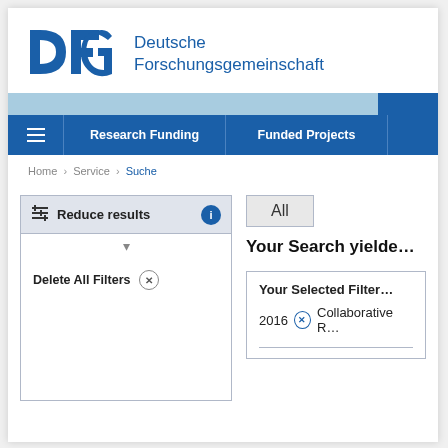[Figure (logo): DFG Deutsche Forschungsgemeinschaft logo with blue DFG letters and text]
Research Funding | Funded Projects
Home › Service › Suche
Reduce results
Delete All Filters ×
All
Your Search yielde...
Your Selected Filter...
2016 × Collaborative R...